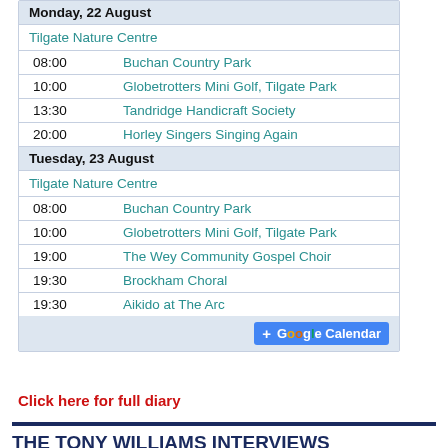| Time | Event |
| --- | --- |
| Monday, 22 August |  |
|  | Tilgate Nature Centre |
| 08:00 | Buchan Country Park |
| 10:00 | Globetrotters Mini Golf, Tilgate Park |
| 13:30 | Tandridge Handicraft Society |
| 20:00 | Horley Singers Singing Again |
| Tuesday, 23 August |  |
|  | Tilgate Nature Centre |
| 08:00 | Buchan Country Park |
| 10:00 | Globetrotters Mini Golf, Tilgate Park |
| 19:00 | The Wey Community Gospel Choir |
| 19:30 | Brockham Choral |
| 19:30 | Aikido at The Arc |
Click here for full diary
THE TONY WILLIAMS INTERVIEWS